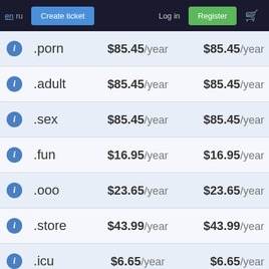en ru  Create ticket  Log in  Register
|  | Domain | Price | Renew |
| --- | --- | --- | --- |
| ℹ | .porn | $85.45/year | $85.45/year |
| ℹ | .adult | $85.45/year | $85.45/year |
| ℹ | .sex | $85.45/year | $85.45/year |
| ℹ | .fun | $16.95/year | $16.95/year |
| ℹ | .ooo | $23.65/year | $23.65/year |
| ℹ | .store | $43.99/year | $43.99/year |
| ℹ | .icu | $6.65/year | $6.65/year |